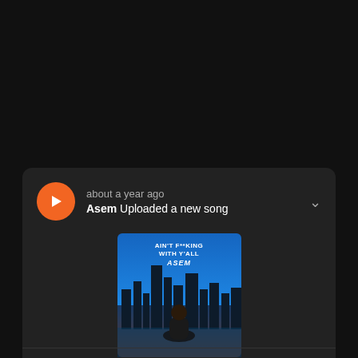about a year ago
Asem Uploaded a new song
[Figure (illustration): Album art for AFWY by Asem showing a person sitting in front of a city skyline with text AIN'T F**KING WITH Y'ALL ASEM]
AFWY
3:58 • 0 Likes • 17 Plays